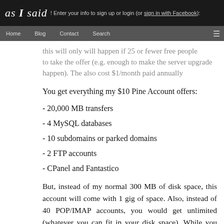as I said! Enter your info to sign up or login (or sign in with Facebook):
Home | Blog | Contact | Search
this will only will happen if 25 or fewer free people to take the offer (e.g. enough to make the server upgrade happen). The also cost $1/month paid annually
You get everything my $10 Pine Account offers:
- 20,000 MB transfers
- 4 MySQL databases
- 10 subdomains or parked domains
- 2 FTP accounts
- CPanel and Fantastico
But, instead of my normal 300 MB of disk space, this account will come with 1 gig of space. Also, instead of 40 POP/IMAP accounts, you would get unlimited (whatever you can fit in your disk space). While you may not resell parts of that space, you may resell entire accounts if you wish and then provide tech support to your clients. If you